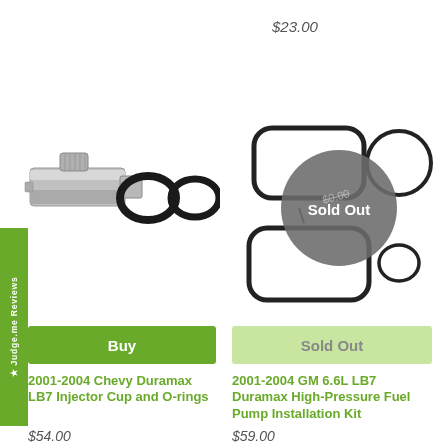$23.00
[Figure (photo): Metal injector cup component with two black O-rings on white background]
[Figure (photo): GM 6.6L LB7 Duramax High-Pressure Fuel Pump gaskets/seals kit on white background with Sold Out overlay circle]
Judge.me Reviews
Buy
Sold Out
2001-2004 Chevy Duramax LB7 Injector Cup and O-rings
2001-2004 GM 6.6L LB7 Duramax High-Pressure Fuel Pump Installation Kit
$54.00
$59.00